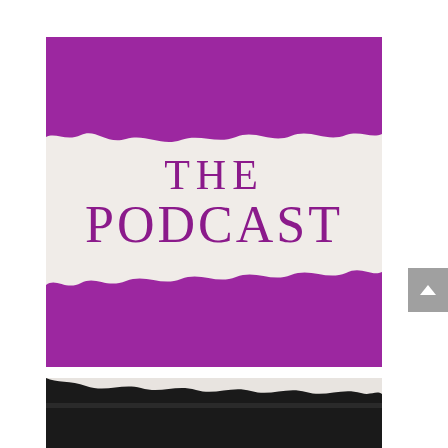[Figure (logo): Podcast logo image: purple background with a torn paper effect revealing a light cream/off-white band in the middle containing the text 'THE PODCAST' in purple serif/sans-serif letters]
[Figure (photo): Partially visible image at bottom with dark/black background and torn paper effect, cropped at bottom of page]